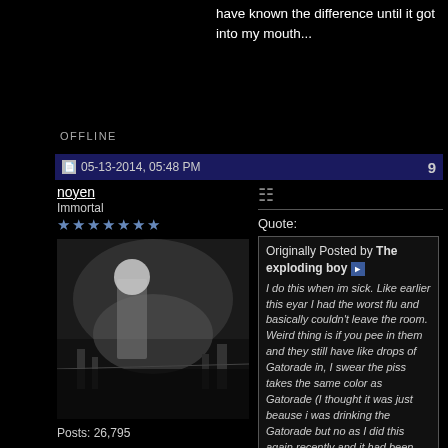have known the difference until it got into my mouth...
OFFLINE
05-13-2014, 05:48 PM
9
noyen
Immortal
★★★★★★★
Posts: 26,795
[Figure (photo): Avatar photo of a person looking out over a cityscape from a high vantage point]
Quote:
Originally Posted by The exploding boy
I do this when im sick. Like earlier this eyar I had the worst flu and basically couldn't leave the room. Weird thing is if you pee in them and they still have like drops of Gatorade in, I swear the piss takes the same color as Gatorade (I thought it was just beause i was drinking the Gatorade but no as I did this again recently and it had been days since i'd drank the thing). I had to make a mental note which ones were the ones I peed